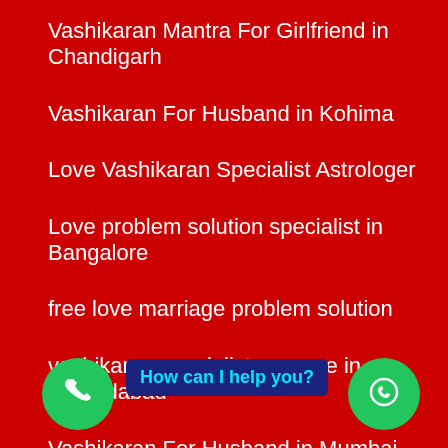Vashikaran Mantra For Girlfriend in Chandigarh
Vashikaran For Husband in Kohima
Love Vashikaran Specialist Astrologer
Love problem solution specialist in Bangalore
free love marriage problem solution
vashikaran specialist near me in Ahmedabad
Vashikaran For Husband in Mumbai
Vashikaran Mantra For Girlfriend in Sikkim
How can I help you?
Black Magic Solution free in Rajasthan